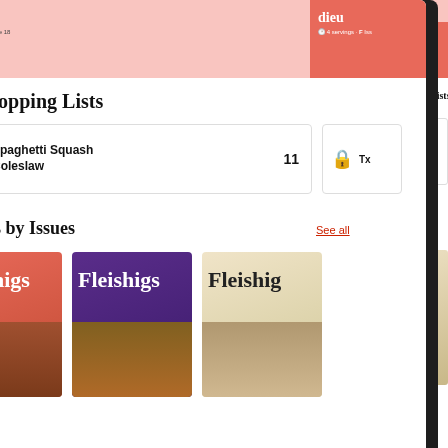[Figure (screenshot): Two mobile app screenshots side by side showing the Fleishigs recipe app. Left screen shows recipe for Balsamic Citrus Branzino with 4 servings and Issue 16 info, a Mains section with a food photo, and bottom navigation (Dashboard, Recipes, Favorites). Right screen shows My Shopping Lists section with Spaghetti Squash Coleslaw item (11 items), Recipes by Issues section with See all link, and three Fleishigs magazine cover thumbnails.]
IT’S NOT NICE TO TEASE, BUT WE CAN’T HELP
We don’t want to spoil y…